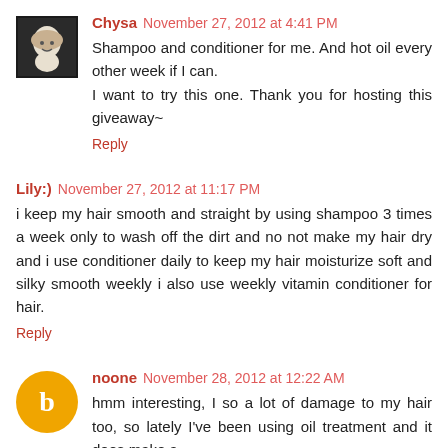[Figure (photo): Small black and white avatar image of a cartoon character]
Chysa November 27, 2012 at 4:41 PM
Shampoo and conditioner for me. And hot oil every other week if I can.
I want to try this one. Thank you for hosting this giveaway~
Reply
Lily:) November 27, 2012 at 11:17 PM
i keep my hair smooth and straight by using shampoo 3 times a week only to wash off the dirt and no not make my hair dry and i use conditioner daily to keep my hair moisturize soft and silky smooth weekly i also use weekly vitamin conditioner for hair.
Reply
[Figure (illustration): Orange circle avatar with letter B inside]
noone November 28, 2012 at 12:22 AM
hmm interesting, I so a lot of damage to my hair too, so lately I've been using oil treatment and it does make a